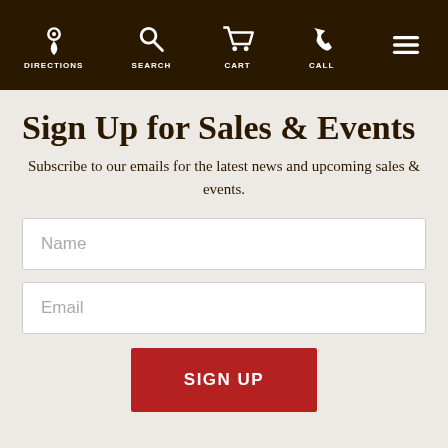DIRECTIONS  SEARCH  CART  CALL
Sign Up for Sales & Events
Subscribe to our emails for the latest news and upcoming sales & events.
Name
Email
SIGN UP